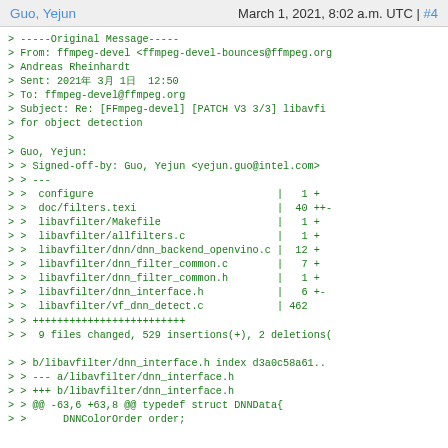Guo, Yejun   March 1, 2021, 8:02 a.m. UTC | #4
> -----Original Message-----
> From: ffmpeg-devel <ffmpeg-devel-bounces@ffmpeg.org
> Andreas Rheinhardt
> Sent: 2021年3月1日 12:50
> To: ffmpeg-devel@ffmpeg.org
> Subject: Re: [FFmpeg-devel] [PATCH V3 3/3] libavfi
> for object detection
>
> Guo, Yejun:
> > Signed-off-by: Guo, Yejun <yejun.guo@intel.com>
> > ---
> >  configure                              |   1 +
> >  doc/filters.texi                       |  40 ++-
> >  libavfilter/Makefile                   |   1 +
> >  libavfilter/allfilters.c               |   1 +
> >  libavfilter/dnn/dnn_backend_openvino.c |  12 +
> >  libavfilter/dnn_filter_common.c        |   7 +
> >  libavfilter/dnn_filter_common.h        |   1 +
> >  libavfilter/dnn_interface.h            |   6 +-
> >  libavfilter/vf_dnn_detect.c            | 462
> > +++++++++++++++++++++++++
> >  9 files changed, 529 insertions(+), 2 deletions(

> > b/libavfilter/dnn_interface.h index d3a0c58a61..
> > --- a/libavfilter/dnn_interface.h
> > +++ b/libavfilter/dnn_interface.h
> > @@ -63,6 +63,8 @@ typedef struct DNNData{
> >      DNNColorOrder order;